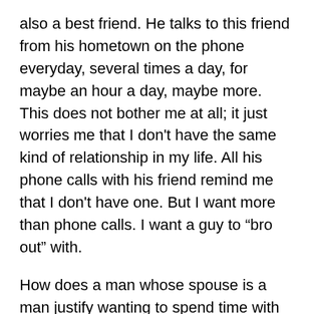also a best friend. He talks to this friend from his hometown on the phone everyday, several times a day, for maybe an hour a day, maybe more. This does not bother me at all; it just worries me that I don't have the same kind of relationship in my life. All his phone calls with his friend remind me that I don't have one. But I want more than phone calls. I want a guy to “bro out” with.
How does a man whose spouse is a man justify wanting to spend time with another man? A straight man can say he needs time away from his opposite-sex spouse to spend time with his same-sex friend so he can be with his own gender; a gay man cannot say that. A straight man could justifiably say that he wants a friend as well as a